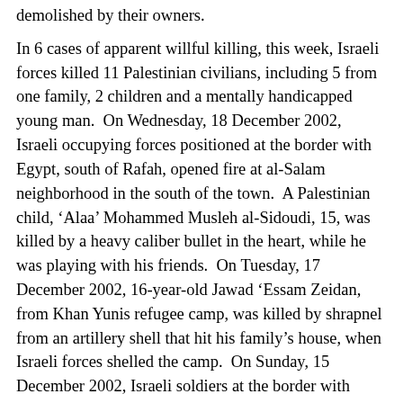demolished by their owners.
In 6 cases of apparent willful killing, this week, Israeli forces killed 11 Palestinian civilians, including 5 from one family, 2 children and a mentally handicapped young man.  On Wednesday, 18 December 2002, Israeli occupying forces positioned at the border with Egypt, south of Rafah, opened fire at al-Salam neighborhood in the south of the town.  A Palestinian child, ‘Alaa’ Mohammed Musleh al-Sidoudi, 15, was killed by a heavy caliber bullet in the heart, while he was playing with his friends.  On Tuesday, 17 December 2002, 16-year-old Jawad ‘Essam Zeidan, from Khan Yunis refugee camp, was killed by shrapnel from an artillery shell that hit his family’s house, when Israeli forces shelled the camp.  On Sunday, 15 December 2002, Israeli soldiers at the border with Egypt, south of Rafah, shot dead ‘Eid Asa’ad Mohammed Abu Hilal, 22, a mentally handicapped man, while he was rambling near Salah al-Din Gate on the border.  On the same day morning, Israeli forces shot dead Hassan Farhan Abu